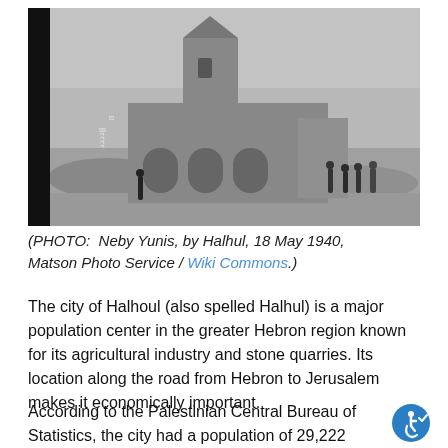[Figure (photo): Black and white photograph of Neby Yunis, a stone building with arched openings and a tower, surrounded by rocky terrain. Several people stand to the right. A dark strip on the left edge of the photo has text. Photo taken near Halhul, 18 May 1940 by Matson Photo Service.]
(PHOTO: Neby Yunis, by Halhul, 18 May 1940, Matson Photo Service / Wiki Commons.)
The city of Halhoul (also spelled Halhul) is a major population center in the greater Hebron region known for its agricultural industry and stone quarries. Its location along the road from Hebron to Jerusalem makes it economically important.
According to the Palestinian Central Bureau of Statistics, the city had a population of 29,222 Muslim inhabitants in 2016.